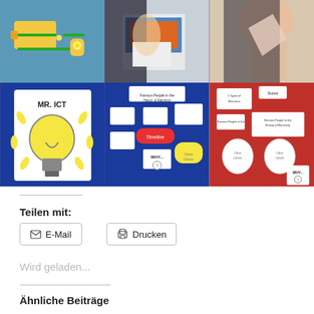[Figure (photo): Grid of 6 photos showing children's electricity project work: circuit experiment, book/notebook, hand pointing, lightbulb drawing, blue display board with cards about electricity history, red display board with project cards]
Teilen mit:
[Figure (other): E-Mail button]
[Figure (other): Drucken button]
Wird geladen...
Ähnliche Beiträge